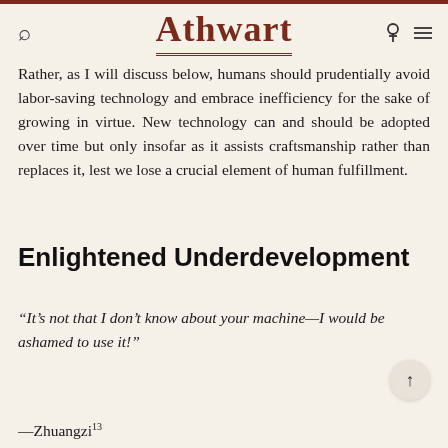Athwart
Rather, as I will discuss below, humans should prudentially avoid labor-saving technology and embrace inefficiency for the sake of growing in virtue. New technology can and should be adopted over time but only insofar as it assists craftsmanship rather than replaces it, lest we lose a crucial element of human fulfillment.
Enlightened Underdevelopment
“It’s not that I don’t know about your machine—I would be ashamed to use it!”
—Zhuangzi¹³